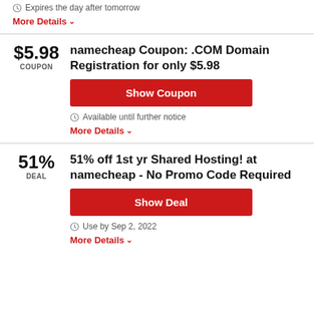Expires the day after tomorrow
More Details
$5.98 COUPON — namecheap Coupon: .COM Domain Registration for only $5.98
Show Coupon
Available until further notice
More Details
51% DEAL — 51% off 1st yr Shared Hosting! at namecheap - No Promo Code Required
Show Deal
Use by Sep 2, 2022
More Details